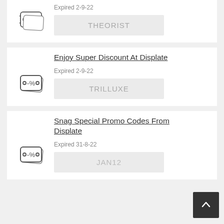[Figure (illustration): Coupon/discount tag icon with -% symbol]
Expired 2-9-22
THEORIST
Enjoy Super Discount At Displate
[Figure (illustration): Coupon/discount tag icon with -% symbol]
Expired 2-9-22
TRILLUXE
Snag Special Promo Codes From Displate
[Figure (illustration): Coupon/discount tag icon with -% symbol]
Expired 31-8-22
JAN12